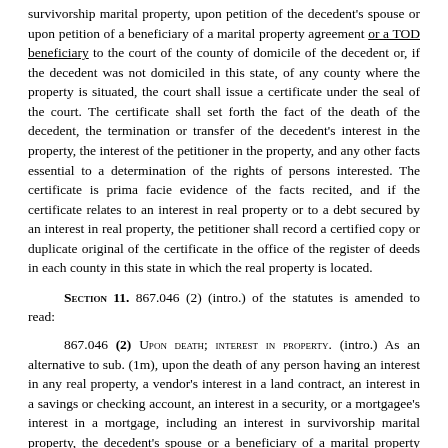survivorship marital property, upon petition of the decedent's spouse or upon petition of a beneficiary of a marital property agreement or a TOD beneficiary to the court of the county of domicile of the decedent or, if the decedent was not domiciled in this state, of any county where the property is situated, the court shall issue a certificate under the seal of the court. The certificate shall set forth the fact of the death of the decedent, the termination or transfer of the decedent's interest in the property, the interest of the petitioner in the property, and any other facts essential to a determination of the rights of persons interested. The certificate is prima facie evidence of the facts recited, and if the certificate relates to an interest in real property or to a debt secured by an interest in real property, the petitioner shall record a certified copy or duplicate original of the certificate in the office of the register of deeds in each county in this state in which the real property is located.
Section 11. 867.046 (2) (intro.) of the statutes is amended to read:
867.046 (2) Upon death; interest in property. (intro.) As an alternative to sub. (1m), upon the death of any person having an interest in any real property, a vendor's interest in a land contract, an interest in a savings or checking account, an interest in a security, or a mortgagee's interest in a mortgage, including an interest in survivorship marital property, the decedent's spouse or a beneficiary of a marital property agreement or TOD beneficiary may obtain evidence of the termination of that interest of the decedent, or confirmation of the position of interest in the